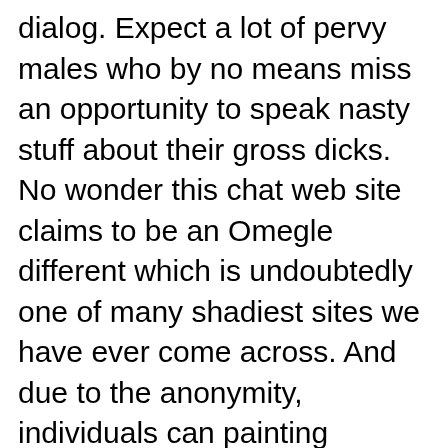dialog. Expect a lot of pervy males who by no means miss an opportunity to speak nasty stuff about their gross dicks. No wonder this chat web site claims to be an Omegle different which is undoubtedly one of many shadiest sites we have ever come across. And due to the anonymity, individuals can painting themselves as anybody they need to. So this one's tremendous weird, you most likely can publish questions and your fellow prospects can answer them. The diagram reveals the current complete measurement of all JavaScript recordsdata towards the potential JavaScript dimension after its minification and compression.